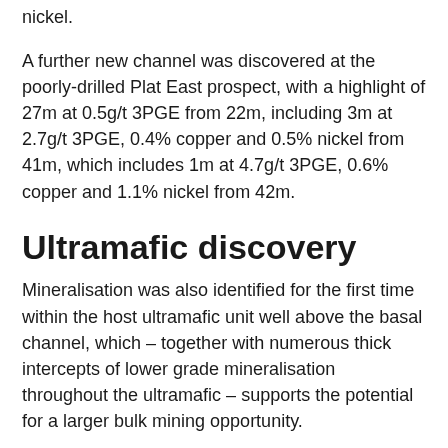nickel.
A further new channel was discovered at the poorly-drilled Plat East prospect, with a highlight of 27m at 0.5g/t 3PGE from 22m, including 3m at 2.7g/t 3PGE, 0.4% copper and 0.5% nickel from 41m, which includes 1m at 4.7g/t 3PGE, 0.6% copper and 1.1% nickel from 42m.
Ultramafic discovery
Mineralisation was also identified for the first time within the host ultramafic unit well above the basal channel, which – together with numerous thick intercepts of lower grade mineralisation throughout the ultramafic – supports the potential for a larger bulk mining opportunity.
Best results were 13m at 1.9g/t 3PGE, 0.5% copper and 0.4% nickel from 9m including 2m at 6.7g/t 3PGE, 2% copper and 1.1% nickel from 19m, which includes 1m at